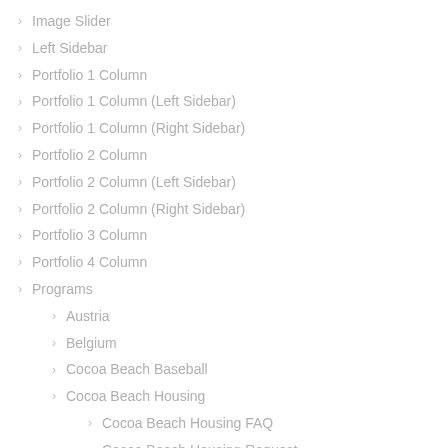Image Slider
Left Sidebar
Portfolio 1 Column
Portfolio 1 Column (Left Sidebar)
Portfolio 1 Column (Right Sidebar)
Portfolio 2 Column
Portfolio 2 Column (Left Sidebar)
Portfolio 2 Column (Right Sidebar)
Portfolio 3 Column
Portfolio 4 Column
Programs
Austria
Belgium
Cocoa Beach Baseball
Cocoa Beach Housing
Cocoa Beach Housing FAQ
Cocoa Beach Housing Request